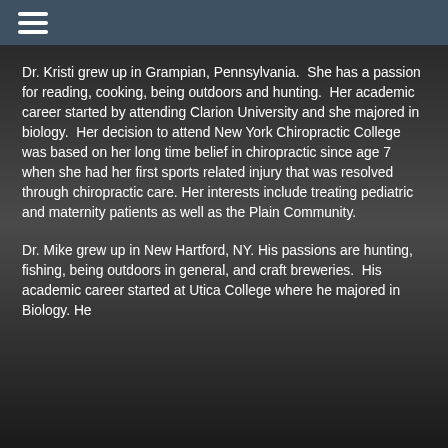[Figure (photo): Background image of a spine/chiropractic model in grayscale, with dark teal header bar]
Dr. Kristi grew up in Grampian, Pennsylvania.  She has a passion for reading, cooking, being outdoors and hunting.  Her academic career started by attending Clarion University and she majored in biology.  Her decision to attend New York Chiropractic College was based on her long time belief in chiropractic since age 7 when she had her first sports related injury that was resolved through chiropractic care. Her interests include treating pediatric and maternity patients as well as the Plain Community.
Dr. Mike grew up in New Hartford, NY. His passions are hunting, fishing, being outdoors in general, and craft breweries.  His academic career started at Utica College where he majored in Biology. He